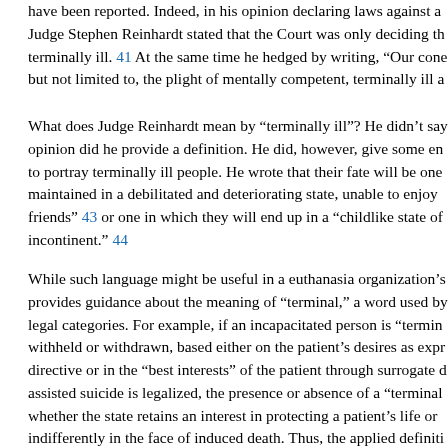have been reported. Indeed, in his opinion declaring laws against a... Judge Stephen Reinhardt stated that the Court was only deciding th... terminally ill. 41 At the same time he hedged by writing, "Our cone... but not limited to, the plight of mentally competent, terminally ill a...
What does Judge Reinhardt mean by “terminally ill”? He didn’t say... opinion did he provide a definition. He did, however, give some en... to portray terminally ill people. He wrote that their fate will be one... maintained in a debilitated and deteriorating state, unable to enjoy... friends” 43 or one in which they will end up in a “childlike state of... incontinent.” 44
While such language might be useful in a euthanasia organization’s... provides guidance about the meaning of “terminal,” a word used by... legal categories. For example, if an incapacitated person is “termin... withheld or withdrawn, based either on the patient’s desires as expr... directive or in the “best interests” of the patient through surrogate d... assisted suicide is legalized, the presence or absence of a “terminal... whether the state retains an interest in protecting a patient’s life or... indifferently in the face of induced death. Thus, the applied definiti... spell the difference between life and death.